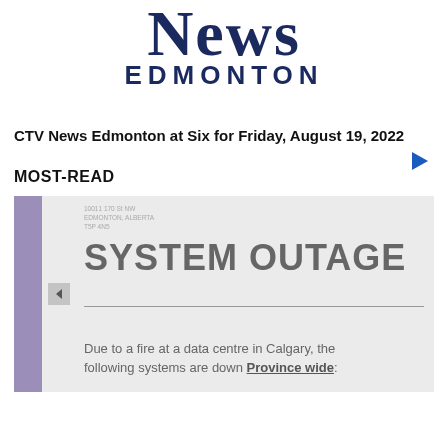[Figure (logo): CTV News Edmonton logo with large stylized 'NEWS' in dark blue serif font and 'EDMONTON' in dark blue bold sans-serif below]
[Figure (other): Blue right-pointing play triangle arrow icon]
CTV News Edmonton at Six for Friday, August 19, 2022
MOST-READ
[Figure (photo): Photo of a sign reading 'SYSTEM OUTAGE' with text below: 'Due to a fire at a data centre in Calgary, the following systems are down Province wide:'. A purple strip is on the left side. Address text at top reads '10011 170 St NW Edmonton, Alberta T5P 4N5'.]